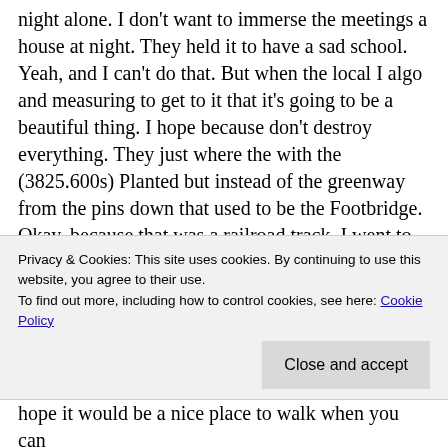night alone. I don't want to immerse the meetings a house at night. They held it to have a sad school. Yeah, and I can't do that. But when the local I algo and measuring to get to it that it's going to be a beautiful thing. I hope because don't destroy everything. They just where the with the (3825.600s) Planted but instead of the greenway from the pins down that used to be the Footbridge. Okay, because that was a railroad track. I went to school down work a nice to use that nice to use that to go to Mount Carmel Church and became a mess. They took the bridge down that place became the nest and the hospital and I guess the
Privacy & Cookies: This site uses cookies. By continuing to use this website, you agree to their use.
To find out more, including how to control cookies, see here: Cookie Policy
Close and accept
hope it would be a nice place to walk when you can